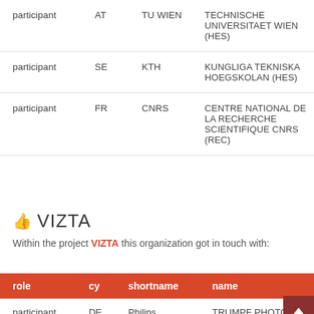| role | cy | shortname | name |
| --- | --- | --- | --- |
| participant | AT | TU WIEN | TECHNISCHE UNIVERSITAET WIEN (HES) |
| participant | SE | KTH | KUNGLIGA TEKNISKA HOEGSKOLAN (HES) |
| participant | FR | CNRS | CENTRE NATIONAL DE LA RECHERCHE SCIENTIFIQUE CNRS (REC) |
👍 VIZTA
Within the project VIZTA this organization got in touch with:
| role | cy | shortname | name |
| --- | --- | --- | --- |
| participant | DE | Philips | TRUMPF PHOTO |